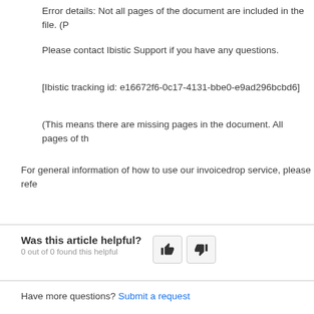Error details: Not all pages of the document are included in the file. (P
Please contact Ibistic Support if you have any questions.
[Ibistic tracking id: e16672f6-0c17-4131-bbe0-e9ad296bcbd6]
(This means there are missing pages in the document. All pages of th
For general information of how to use our invoicedrop service, please refe
Was this article helpful?
0 out of 0 found this helpful
Have more questions? Submit a request